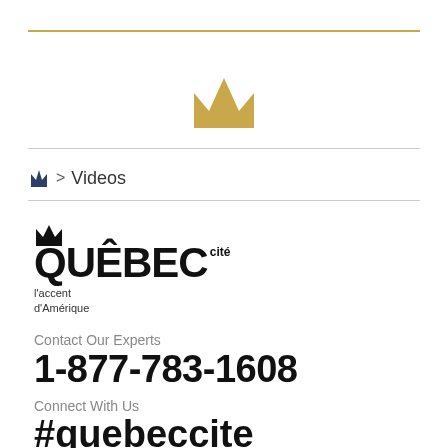[Figure (logo): Quebec Cité crown logo icon in gold/tan color, centered on page]
Videos
[Figure (logo): Quebec Cité full logo with crown icon and bold text QUÉBEC with 'cité' superscript and tagline 'l'accent d'Amérique']
Contact Our Experts
1-877-783-1608
Connect With Us
#quebeccite